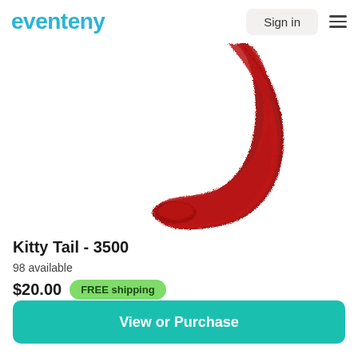eventeny  Sign in
[Figure (photo): A red furry kitty tail curving from top to bottom against a white background]
Kitty Tail - 3500
98 available
$20.00  FREE shipping
View or Purchase